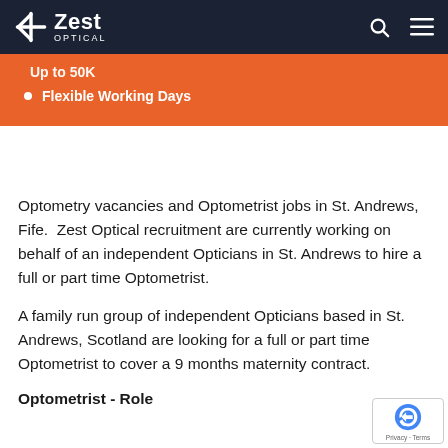Zest Optical
Up to 50K
Flexible Working Days
Optometry vacancies and Optometrist jobs in St. Andrews, Fife.  Zest Optical recruitment are currently working on behalf of an independent Opticians in St. Andrews to hire a full or part time Optometrist.
A family run group of independent Opticians based in St. Andrews, Scotland are looking for a full or part time Optometrist to cover a 9 months maternity contract.
Optometrist - Role